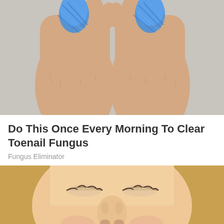[Figure (photo): Top-down view of two human feet with blue fabric/bandage material wrapped around the big toes, placed on a light wooden surface]
Do This Once Every Morning To Clear Toenail Fungus
Fungus Eliminator
[Figure (photo): Close-up face photo of a blonde woman with eyes closed, nose and lips visible; a smaller image of a dark-haired man appears in the lower left corner]